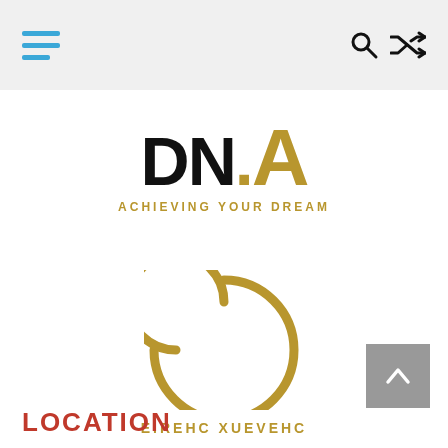Navigation bar with hamburger menu, search icon, and shuffle icon
[Figure (logo): DN.A logo with black DN and gold .A text, tagline ACHIEVING YOUR DREAM in gold]
[Figure (logo): Cheveux Cherie logo: gold circular C emblem with mirrored text CHEVEUX CHERIE below]
LOCATION